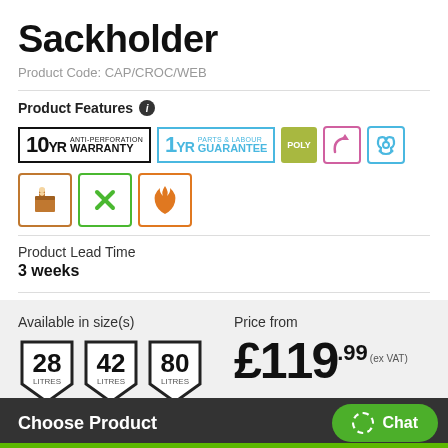Sackholder
Product Code: CAP/CROC/WEB
Product Features
[Figure (other): Product feature badges: 10YR Anti-Perforation Warranty, 1YR Parts & Labour Guarantee, POLY badge, curved arrow icon, biohazard icon, cardboard/hand icon, X icon, flame icon]
Product Lead Time
3 weeks
Available in size(s)
[Figure (other): Three shield/badge size icons: 28 LITRES, 42 LITRES, 80 LITRES]
Price from
£119.99 (ex VAT)
Choose Product
Chat